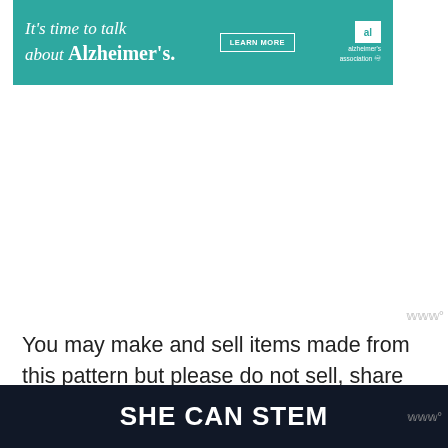[Figure (other): Alzheimer's Association advertisement banner in teal/green color. Text reads 'It's time to talk about Alzheimer's.' with a LEARN MORE button and the Alzheimer's Association logo.]
You may make and sell items made from this pattern but please do not sell, share or reproduce the actual pattern. If you sell finished items online (Etsy, etc) please provide a link to the pattern and credit the as the designer, thank you. I hope you enjoy the pattern!
SHE CAN STEM